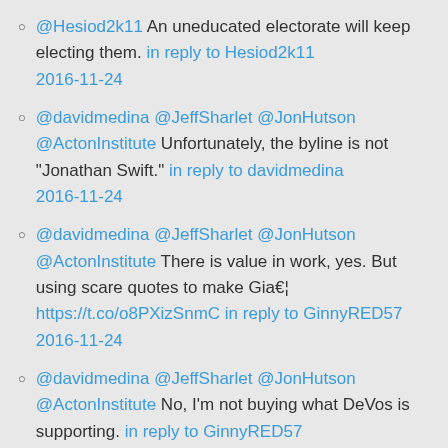@Hesiod2k11 An uneducated electorate will keep electing them. in reply to Hesiod2k11 2016-11-24
@davidmedina @JeffSharlet @JonHutson @ActonInstitute Unfortunately, the byline is not "Jonathan Swift." in reply to davidmedina 2016-11-24
@davidmedina @JeffSharlet @JonHutson @ActonInstitute There is value in work, yes. But using scare quotes to make Gia€¦ https://t.co/o8PXizSnmC in reply to GinnyRED57 2016-11-24
@davidmedina @JeffSharlet @JonHutson @ActonInstitute No, I'm not buying what DeVos is supporting. in reply to GinnyRED57 2016-11-24